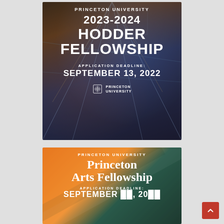[Figure (illustration): Princeton University 2023-2024 Hodder Fellowship announcement card. Dark background with stained-glass architectural imagery. Text reads: PRINCETON UNIVERSITY / 2023-2024 / HODDER / FELLOWSHIP / APPLICATION DEADLINE: / SEPTEMBER 13, 2022. Princeton University logo at bottom.]
[Figure (illustration): Princeton University Princeton Arts Fellowship announcement card. Orange and teal/green diagonal background. Text reads: PRINCETON UNIVERSITY / Princeton / Arts Fellowship / APPLICATION DEADLINE: / SEPTEMBER [date cut off].]